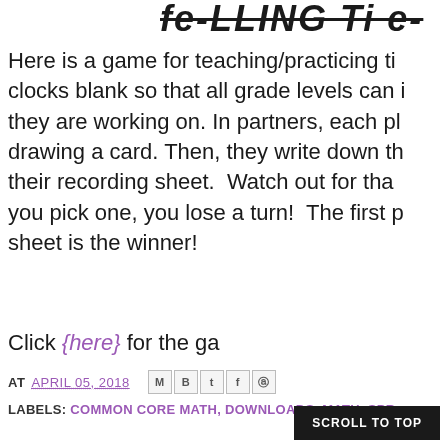TELLING TI E GO
Here is a game for teaching/practicing ti... clocks blank so that all grade levels can i... they are working on. In partners, each pl... drawing a card. Then, they write down th... their recording sheet. Watch out for tha... you pick one, you lose a turn! The first p... sheet is the winner!
Click {here} for the ga...
AT APRIL 05, 2018
LABELS: COMMON CORE MATH, DOWNLOADS, MATH, SPR...
SCROLL TO TOP